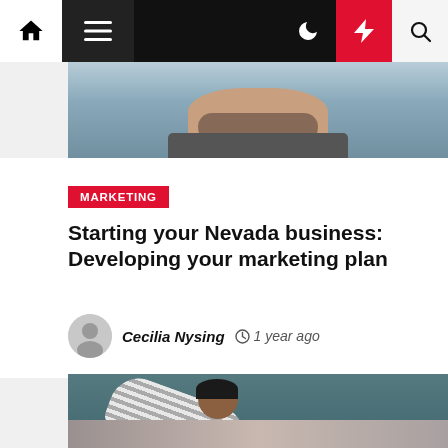Navigation bar with home, menu, dark mode, breaking news, and search icons
[Figure (photo): Cropped photo of a bearded man, partial face visible, blue/grey tones]
MARKETING
Starting your Nevada business: Developing your marketing plan
Cecilia Nysing  ⊙ 1 year ago
[Figure (photo): Photo of a person in a striped shirt bending over a stone or concrete surface, teal wall background]